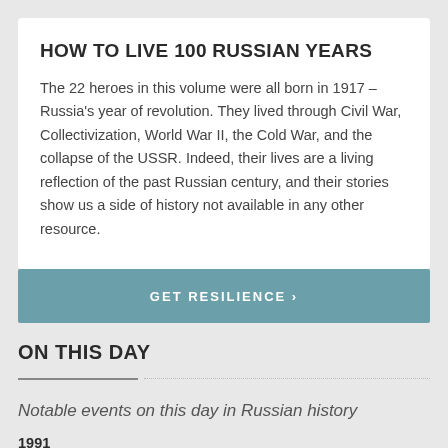HOW TO LIVE 100 RUSSIAN YEARS
The 22 heroes in this volume were all born in 1917 – Russia's year of revolution. They lived through Civil War, Collectivization, World War II, the Cold War, and the collapse of the USSR. Indeed, their lives are a living reflection of the past Russian century, and their stories show us a side of history not available in any other resource.
GET RESILIENCE ›
ON THIS DAY
Notable events on this day in Russian history
1991
Pravda was shut down by Russian republic President Boris